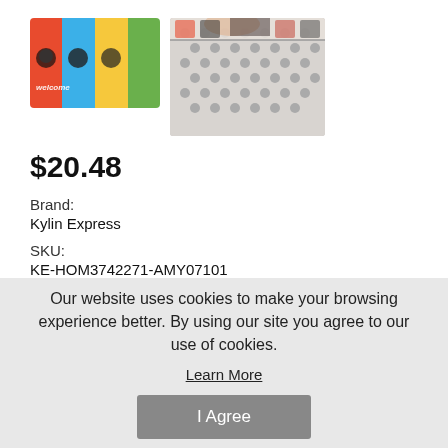[Figure (photo): Two product images: left image shows a colorful cat welcome mat with red, blue, yellow, green sections and cat faces; right image shows the underside/back of the mat being folded up, showing a grey polka-dot non-slip backing.]
$20.48
Brand:
Kylin Express
SKU:
KE-HOM3742271-AMY07101
Quantity:
Our website uses cookies to make your browsing experience better. By using our site you agree to our use of cookies.
Learn More
I Agree